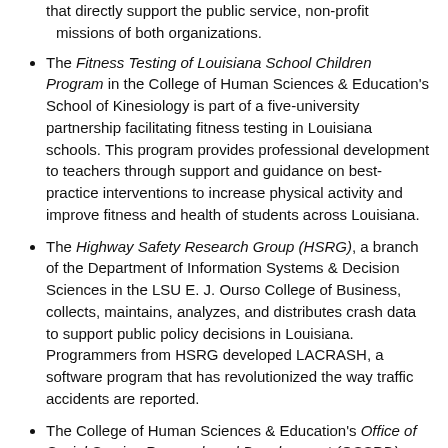that directly support the public service, non-profit missions of both organizations.
The Fitness Testing of Louisiana School Children Program in the College of Human Sciences & Education's School of Kinesiology is part of a five-university partnership facilitating fitness testing in Louisiana schools. This program provides professional development to teachers through support and guidance on best-practice interventions to increase physical activity and improve fitness and health of students across Louisiana.
The Highway Safety Research Group (HSRG), a branch of the Department of Information Systems & Decision Sciences in the LSU E. J. Ourso College of Business, collects, maintains, analyzes, and distributes crash data to support public policy decisions in Louisiana. Programmers from HSRG developed LACRASH, a software program that has revolutionized the way traffic accidents are reported.
The College of Human Sciences & Education's Office of Social Service Research and Development (OSSRD) received a three-year $1.5 million grant from the U.S. Department of Health and Human Services: Office of Minority Health for the Youth Empowerment Program II (YEP) proposal, which aims to promote family engagement and prevent violence in at-risk